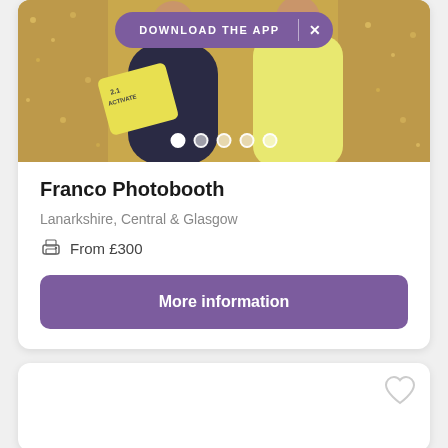[Figure (photo): Photo booth image showing two people posing with a yellow foam hand prop and yellow outfit against a gold sequin curtain backdrop. A purple 'DOWNLOAD THE APP' banner with close button is overlaid at top. Five pagination dots are shown at the bottom of the image.]
Franco Photobooth
Lanarkshire, Central & Glasgow
From £300
More information
[Figure (photo): Bottom of page showing the start of a second listing card with a heart/favorite icon in the top right corner.]